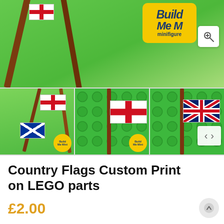[Figure (photo): Hero image showing LEGO minifigure flags on green background with Build Me Mini brand badge and zoom button]
[Figure (photo): Thumbnail 1: LEGO minifigure with England and Scotland flags on green surface with Build Me Mini badge]
[Figure (photo): Thumbnail 2: England flag (St. George's Cross) on LEGO brick green base with Build Me Mini badge]
[Figure (photo): Thumbnail 3: UK Union Jack flag on LEGO brick green base with navigation arrows overlay]
Country Flags Custom Print on LEGO parts
£2.00
A scaled minifigure accessory for your sport-supporting (or super patriotic) fig, these genuine 1×2 tile LEGO® bricks have been